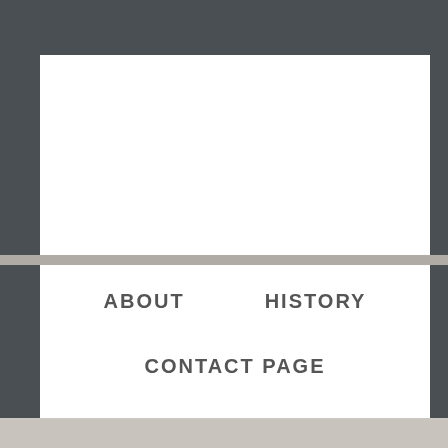hickson miss marple
ABOUT
HISTORY
CONTACT PAGE
the picture quality, a definitive upgrade from the DVDs. The sound has been cleaned up. Any fans of the Joan Hickson Miss Marple series should seriously consider the remastered Blu-rays which the BBC released in the USA. Savour here the solving of twelve complex cases. You can return the item for any reason in new and